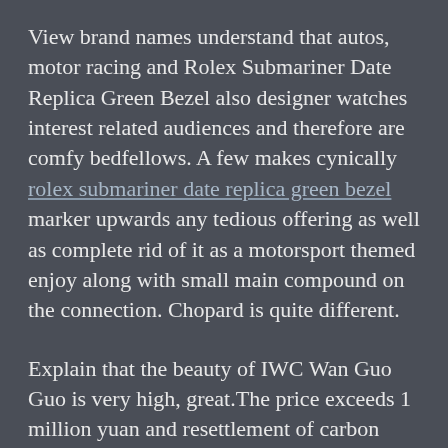View brand names understand that autos, motor racing and Rolex Submariner Date Replica Green Bezel also designer watches interest related audiences and therefore are comfy bedfellows. A few makes cynically rolex submariner date replica green bezel marker upwards any tedious offering as well as complete rid of it as a motorsport themed enjoy along with small main compound on the connection. Chopard is quite different.
Explain that the beauty of IWC Wan Guo Guo is very high, great.The price exceeds 1 million yuan and resettlement of carbon fibers takes 87 million yuan. Many people reflect the life of the boiler and attracts the Americans. In 1955,